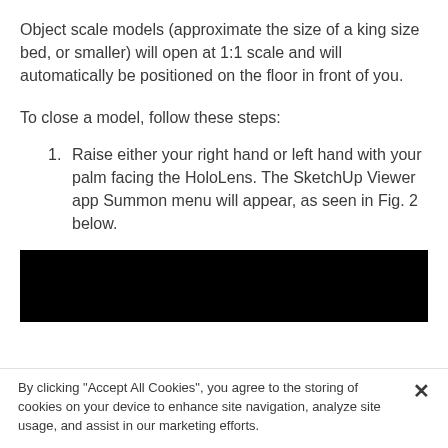Object scale models (approximate the size of a king size bed, or smaller) will open at 1:1 scale and will automatically be positioned on the floor in front of you.
To close a model, follow these steps:
1. Raise either your right hand or left hand with your palm facing the HoloLens. The SketchUp Viewer app Summon menu will appear, as seen in Fig. 2 below.
[Figure (photo): A black rectangular image, partially visible, appearing to be a screenshot or photo related to the HoloLens Summon menu (Fig. 2).]
By clicking "Accept All Cookies", you agree to the storing of cookies on your device to enhance site navigation, analyze site usage, and assist in our marketing efforts.